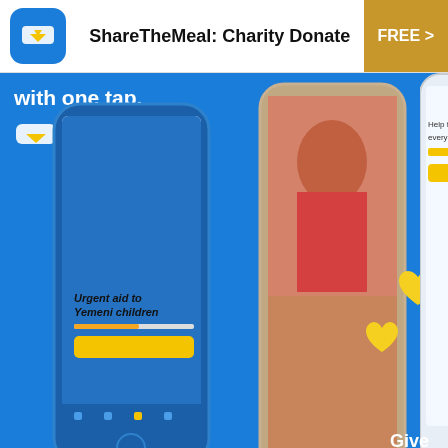[Figure (screenshot): App store listing header for ShareTheMeal: Charity Donate app with blue icon, app name, and FREE button]
[Figure (screenshot): App screenshots showing charity donation app with phone mockups on blue background, 'with one tap.' text, child photo, yellow hearts, and partial text 'Give', 'Conne...', 'i...']
[Figure (screenshot): Dropdown/expand button area with chevron down arrow on grey background]
[Figure (screenshot): ATD advertisement banner: 'Invest in Government Employees' with Open button]